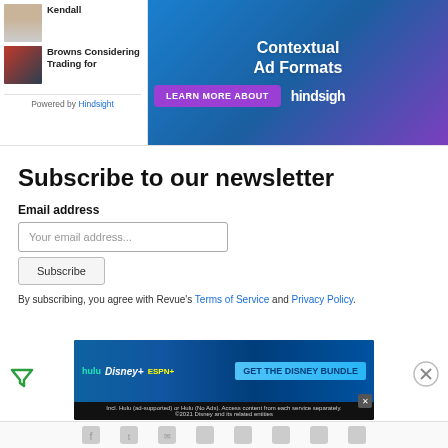[Figure (screenshot): Article widget showing 'Kendall' with thumbnail and 'Browns Considering Trading for' with sports thumbnail, powered by Hindsight]
[Figure (screenshot): Advertisement banner for Contextual Ad Formats with LEARN MORE ABOUT button and hindsight branding on blue/purple gradient]
Subscribe to our newsletter
Email address
Your email address...
Subscribe
By subscribing, you agree with Revue's Terms of Service and Privacy Policy.
[Figure (screenshot): Disney Bundle advertisement: hulu, Disney+, ESPN+ logos with GET THE DISNEY BUNDLE call to action. Fine print: Incl. Hulu (ad-supported) or Hulu (No Ads). Access content from each service separately. ©2021 Disney and its related entities]
[Figure (screenshot): Social media sharing bar at bottom of page]